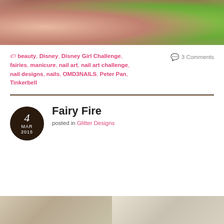[Figure (photo): Close-up photo of nail art showing lime green painted nails with glitter, fingers visible against blurred background]
beauty, Disney, Disney Girl Challenge, fairies, manicure, nail art, nail art challenge, nail designs, nails, OMD3NAILS, Peter Pan, Tinkerbell
3 Comments
Fairy Fire
posted in Glitter Designs
[Figure (photo): Bottom strip showing two partial nail art photos side by side]